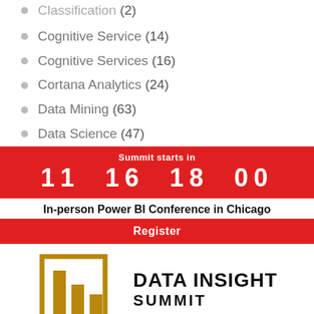Classification (2)
Cognitive Service (14)
Cognitive Services (16)
Cortana Analytics (24)
Data Mining (63)
Data Science (47)
Summit starts in
11  16  18  00
In-person Power BI Conference in Chicago
Register
[Figure (logo): Data Insight Summit logo with golden bar chart icon and bold text 'DATA INSIGHT SUMMIT']